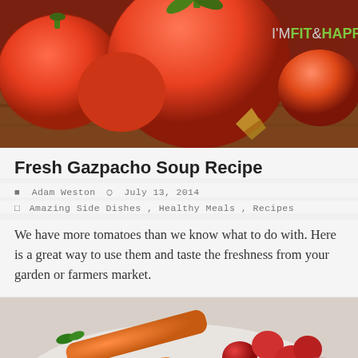[Figure (photo): Circular photo of fresh red tomatoes on a wooden surface with a watermark logo 'I'M FIT & HAPPY' in the upper right area]
Fresh Gazpacho Soup Recipe
Adam Weston   July 13, 2014
Amazing Side Dishes , Healthy Meals , Recipes
We have more tomatoes than we know what to do with. Here is a great way to use them and taste the freshness from your garden or farmers market.
[Figure (photo): Circular photo of fresh vegetables including baby carrots, cherry tomatoes, and sliced radishes]